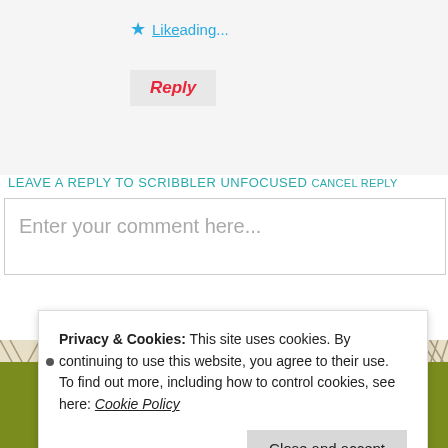⭐ Like Loading...
Reply
LEAVE A REPLY TO SCRIBBLER UNFOCUSED CANCEL REPLY
Enter your comment here...
Privacy & Cookies: This site uses cookies. By continuing to use this website, you agree to their use.
To find out more, including how to control cookies, see here: Cookie Policy
Close and accept
Powered by WordPress.com